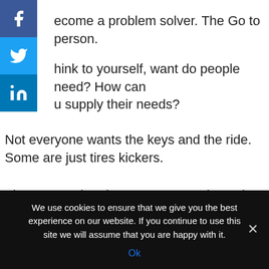[Figure (infographic): Facebook social share button icon (blue square with white 'f')]
[Figure (infographic): Twitter social share button icon (blue square with white bird)]
[Figure (infographic): LinkedIn social share button icon (blue square with white 'in')]
ecome a problem solver. The Go to person.
hink to yourself, want do people need? How can you supply their needs?
Not everyone wants the keys and the ride. Some are just tires kickers.
The KEY to the above statements is not just seeing the words but doing what is being shared with you. You Must Take ACTION. Are you ready to be an action taker?
We have a mentorship program, digital products and services. Lots of educational videos.
We use cookies to ensure that we give you the best experience on our website. If you continue to use this site we will assume that you are happy with it.